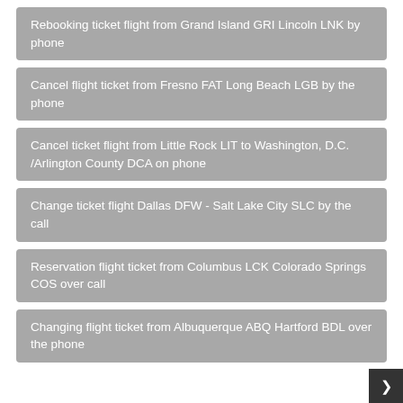Rebooking ticket flight from Grand Island GRI Lincoln LNK by phone
Cancel flight ticket from Fresno FAT Long Beach LGB by the phone
Cancel ticket flight from Little Rock LIT to Washington, D.C. /Arlington County DCA on phone
Change ticket flight Dallas DFW - Salt Lake City SLC by the call
Reservation flight ticket from Columbus LCK Colorado Springs COS over call
Changing flight ticket from Albuquerque ABQ Hartford BDL over the phone